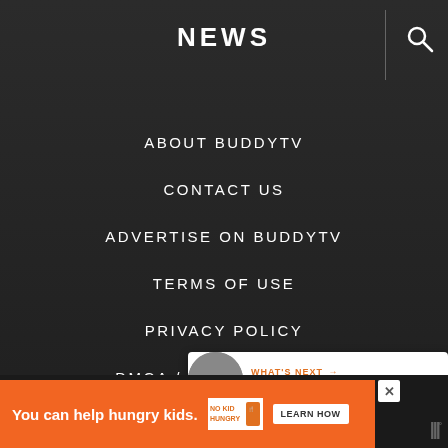NEWS
ABOUT BUDDYTV
CONTACT US
ADVERTISE ON BUDDYTV
TERMS OF USE
PRIVACY POLICY
DMCA / INFRINGEMENT
© 2022 BUDDYTV.  ALL RIGHTS RESERVED.
EXCLUSIVE MEMBER OF MEDIAVINE FOOD
[Figure (screenshot): What's Next panel showing BuddyTV logo avatar and text 'WHAT'S NEXT → Miriam Shor']
[Figure (infographic): Advertisement bar: orange background with 'You can help hungry kids.' No Kid Hungry logo and LEARN HOW button]